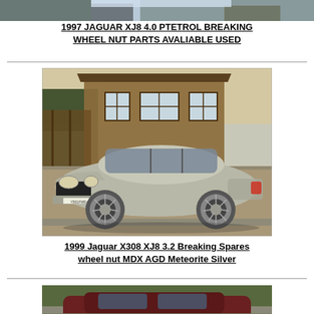[Figure (photo): Top portion of a car photo, partially visible at top of page]
1997 JAGUAR XJ8 4.0 PTETROL BREAKING WHEEL NUT PARTS AVALIABLE USED
[Figure (photo): Silver 1999 Jaguar X308 XJ8 3.2 parked on gravel driveway in front of a wooden lodge building]
1999 Jaguar X308 XJ8 3.2 Breaking Spares wheel nut MDX AGD Meteorite Silver
[Figure (photo): Bottom portion of another Jaguar car, partially visible at bottom of page]